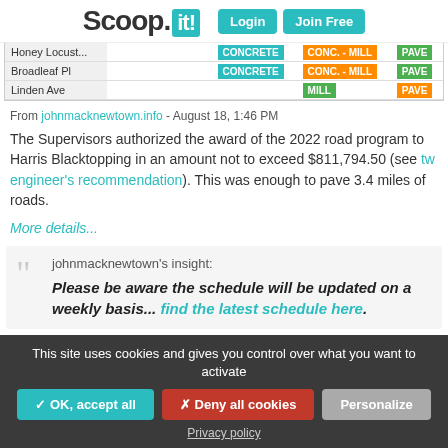Scoop.it! — Login | Join Free
| Road |  |  | Col4 | Col5 | Col6 |
| --- | --- | --- | --- | --- | --- |
| Honey Locust |  |  | CONCRETE | CONC. - MILL | PAVE |
| Broadleaf Pl |  |  | CONCRETE | CONC. - MILL | PAVE |
| Linden Ave |  |  |  | MILL | PAVE |
From johnmacknewtown.info - August 18, 1:46 PM
The Supervisors authorized the award of the 2022 road program to Harris Blacktopping in an amount not to exceed $811,794.50 (see tw engineer's recommendation). This was enough to pave 3.4 miles of roads.
More details...
johnmacknewtown's insight:
Please be aware the schedule will be updated on a weekly basis... find the latest schedule here.
This site uses cookies and gives you control over what you want to activate